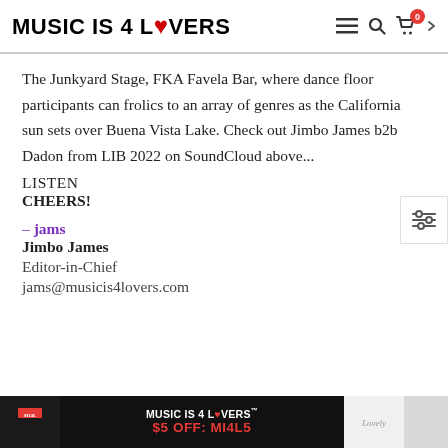MUSIC IS 4 LOVERS
The Junkyard Stage, FKA Favela Bar, where dance floor participants can frolics to an array of genres as the California sun sets over Buena Vista Lake. Check out Jimbo James b2b Dadon from LIB 2022 on SoundCloud above...
LISTEN
CHEERS!
– jams
Jimbo James
Editor-in-Chief
jams@musicis4lovers.com
[Figure (photo): Bottom banner advertisement for Music Is 4 Lovers merchandise showing two people wearing shirts with the brand logo and text '$5 OFF: MI4L5']